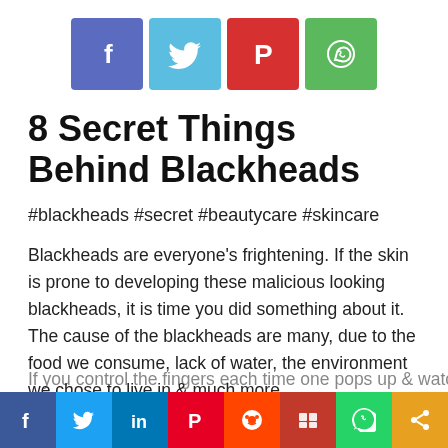[Figure (infographic): Four social share buttons: Facebook (purple-blue), Twitter (light blue), Pinterest (red), WhatsApp (green)]
8 Secret Things Behind Blackheads
#blackheads #secret #beautycare #skincare
Blackheads are everyone's frightening. If the skin is prone to developing these malicious looking blackheads, it is time you did something about it. The cause of the blackheads are many, due to the food we consume, lack of water, the environment we chose to live in & much more.
If you control the fingers each time one pops up & watch what
[Figure (infographic): Bottom social share bar with icons for Facebook, Twitter, LinkedIn, Pinterest, Reddit, Mix, WhatsApp, and Share]